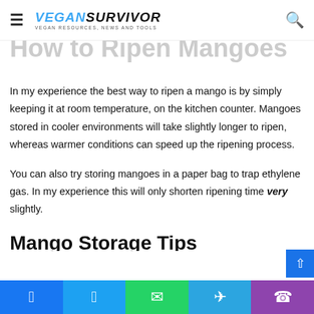VEGANSURVIVOR — VEGAN RESOURCES, NEWS AND TOOLS
How to Ripen Mangoes
In my experience the best way to ripen a mango is by simply keeping it at room temperature, on the kitchen counter. Mangoes stored in cooler environments will take slightly longer to ripen, whereas warmer conditions can speed up the ripening process.
You can also try storing mangoes in a paper bag to trap ethylene gas. In my experience this will only shorten ripening time very slightly.
Mango Storage Tips
Try to consume your mango as soon as possible once it's r...